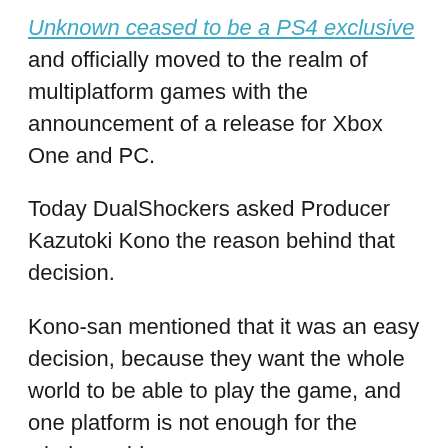Unknown ceased to be a PS4 exclusive and officially moved to the realm of multiplatform games with the announcement of a release for Xbox One and PC.
Today DualShockers asked Producer Kazutoki Kono the reason behind that decision.
Kono-san mentioned that it was an easy decision, because they want the whole world to be able to play the game, and one platform is not enough for the whole world.
As a consequence, we asked about the possibility of a port on Nintendo Switch, and Kono-san explained that the Switch is a “very attractive platform,” but he doesn’t think it could handle Ace Combat 7’s technology.
We also hear that the team is currently considering how to